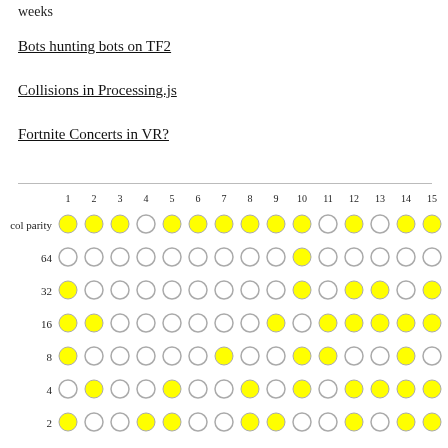weeks
Bots hunting bots on TF2
Collisions in Processing.js
Fortnite Concerts in VR?
[Figure (infographic): Hamming code parity bit visualization. A grid showing columns 1-15 and rows: col parity, 64, 32, 16, 8, 4, 2. Each cell contains a circle that is either filled yellow or empty (outline only), representing bit values in Hamming code error correction.]